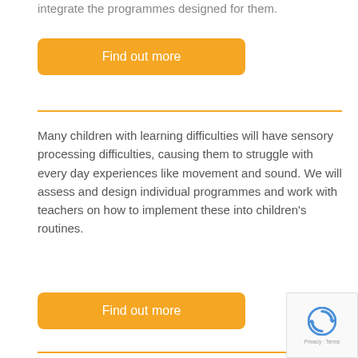integrate the programmes designed for them.
Find out more
Many children with learning difficulties will have sensory processing difficulties, causing them to struggle with every day experiences like movement and sound. We will assess and design individual programmes and work with teachers on how to implement these into children's routines.
Find out more